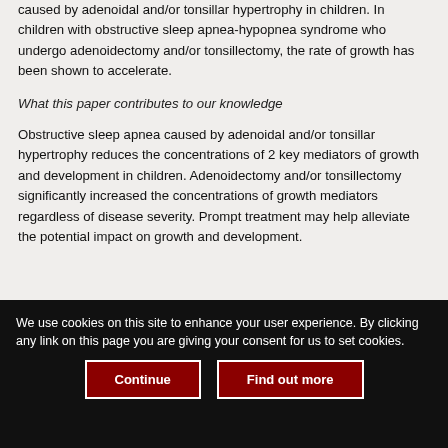caused by adenoidal and/or tonsillar hypertrophy in children. In children with obstructive sleep apnea-hypopnea syndrome who undergo adenoidectomy and/or tonsillectomy, the rate of growth has been shown to accelerate.
What this paper contributes to our knowledge
Obstructive sleep apnea caused by adenoidal and/or tonsillar hypertrophy reduces the concentrations of 2 key mediators of growth and development in children. Adenoidectomy and/or tonsillectomy significantly increased the concentrations of growth mediators regardless of disease severity. Prompt treatment may help alleviate the potential impact on growth and development.
We use cookies on this site to enhance your user experience. By clicking any link on this page you are giving your consent for us to set cookies.